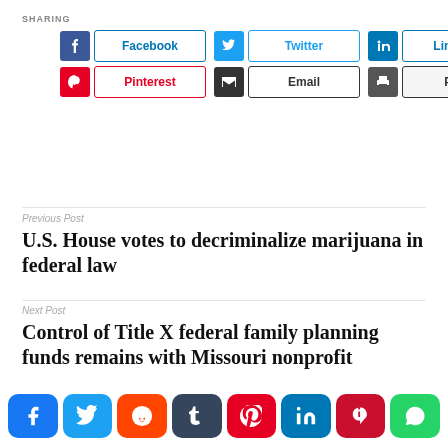SHARING
[Figure (infographic): Social sharing buttons: Facebook, Twitter, LinkedIn, Pinterest, Email, Print]
Previous Post
U.S. House votes to decriminalize marijuana in federal law
Next Post
Control of Title X federal family planning funds remains with Missouri nonprofit
[Figure (infographic): Bottom social sharing icon bubbles: Facebook, Twitter, Reddit, Tumblr, Pinterest, LinkedIn, Parler, WhatsApp]